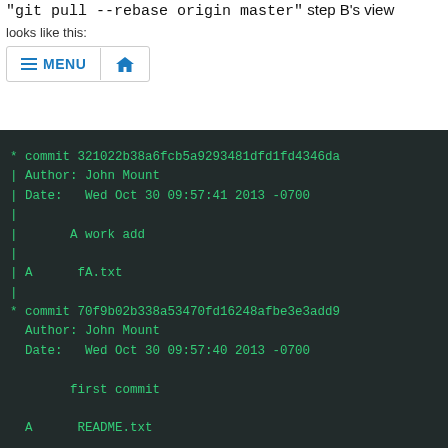"git pull --rebase origin master" step B's view looks like this:
[Figure (screenshot): Terminal screenshot showing git log output with two commits: commit 321022b38a6fcb5a9293481dfd1fd4346da (Author: John Mount, Date: Wed Oct 30 09:57:41 2013 -0700, message: A work add, file: A fA.txt) and commit 70f9b02b338a53470fd16248afbe3e3add9 (Author: John Mount, Date: Wed Oct 30 09:57:40 2013 -0700, message: first commit, file: A README.txt)]